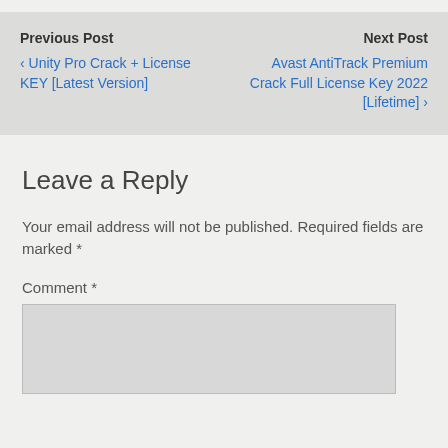Previous Post
‹ Unity Pro Crack + License KEY [Latest Version]
Next Post
Avast AntiTrack Premium Crack Full License Key 2022 [Lifetime] ›
Leave a Reply
Your email address will not be published. Required fields are marked *
Comment *